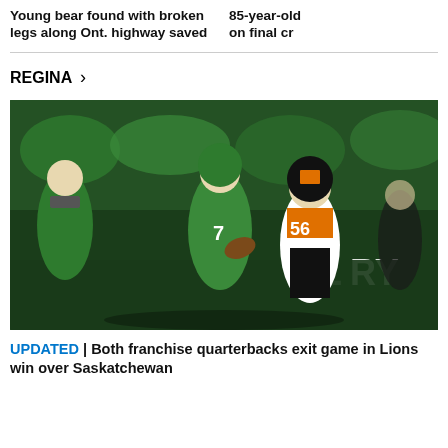Young bear found with broken legs along Ont. highway saved
85-year-old on final cr
REGINA >
[Figure (photo): CFL football game action shot: a green-uniformed Saskatchewan Roughriders quarterback being tackled by a BC Lions player wearing number 56 in orange and black uniform, night game with crowd in background]
UPDATED | Both franchise quarterbacks exit game in Lions win over Saskatchewan